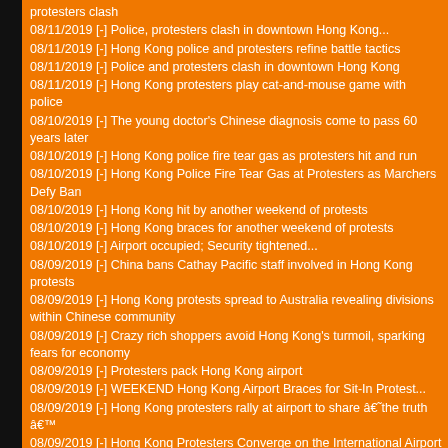protesters clash
08/11/2019 [-] Police, protesters clash in downtown Hong Kong...
08/11/2019 [-] Hong Kong police and protesters refine battle tactics
08/11/2019 [-] Police and protesters clash in downtown Hong Kong
08/11/2019 [-] Hong Kong protesters play cat-and-mouse game with police
08/10/2019 [-] The young doctor's Chinese diagnosis come to pass 60 years later
08/10/2019 [-] Hong Kong police fire tear gas as protesters hit and run
08/10/2019 [-] Hong Kong Police Fire Tear Gas at Protesters as Marchers Defy Ban
08/10/2019 [-] Hong Kong hit by another weekend of protests
08/10/2019 [-] Hong Kong braces for another weekend of protests
08/10/2019 [-] Airport occupied; Security tightened...
08/09/2019 [-] China bans Cathay Pacific staff involved in Hong Kong protests
08/09/2019 [-] Hong Kong protests spread to Australia revealing divisions within Chinese community
08/09/2019 [-] Crazy rich shoppers avoid Hong Kong's turmoil, sparking fears for economy
08/09/2019 [-] Protesters pack Hong Kong airport
08/09/2019 [-] WEEKEND Hong Kong Airport Braces for Sit-In Protest...
08/09/2019 [-] Hong Kong protesters rally at airport to share â€˜the truthâ€™
08/09/2019 [-] Hong Kong Protesters Converge on the International Airport for a Three-Day Sit-In
08/09/2019 [-] Hong Kong airport occupied by crowd of protesters
08/08/2019 [-] Is China going to send in troops to crush Hong